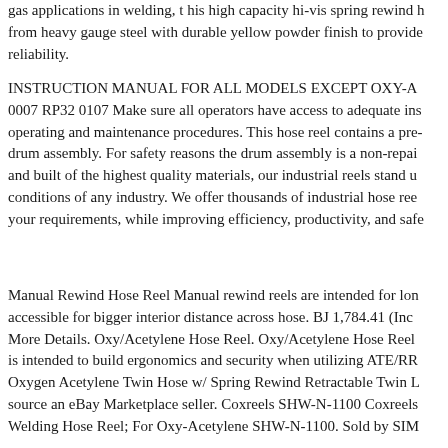gas applications in welding, t his high capacity hi-vis spring rewind hose reel is constructed from heavy gauge steel with durable yellow powder finish to provide long-lasting performance and reliability.
INSTRUCTION MANUAL FOR ALL MODELS EXCEPT OXY-ACETYLENE 0007 RP32 0107 Make sure all operators have access to adequate instructions for safe operating and maintenance procedures. This hose reel contains a pre-assembled drum assembly. For safety reasons the drum assembly is a non-repairable item. Designed and built of the highest quality materials, our industrial reels stand up to the most grueling conditions of any industry. We offer thousands of industrial hose reels and hose assemblies to meet your requirements, while improving efficiency, productivity, and safety.
Manual Rewind Hose Reel Manual rewind reels are intended for longer hose lengths and are accessible for bigger interior distance across hose. BJ 1,784.41 (Inc VAT) Click here for More Details. Oxy/Acetylene Hose Reel. Oxy/Acetylene Hose Reel The Oxy/Acetylene Hose Reel is intended to build ergonomics and security when utilizing ATE/RRA twin welding hose. Oxygen Acetylene Twin Hose w/ Spring Rewind Retractable Twin Line Hose Reel. Buy direct from source an eBay Marketplace seller. Coxreels SHW-N-1100 Coxreels SHW-N-1100 Spring Rewind Welding Hose Reel; For Oxy-Acetylene SHW-N-1100. Sold by SIM Supply.